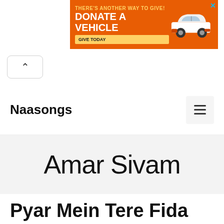[Figure (infographic): Orange advertisement banner: 'THERE'S ANOTHER WAY TO GIVE! DONATE A VEHICLE' with a 'GIVE TODAY' button and a white car image on the right, with an X close button.]
Naasongs
Amar Sivam
Pyar Mein Tere Fida MP3 Song Details